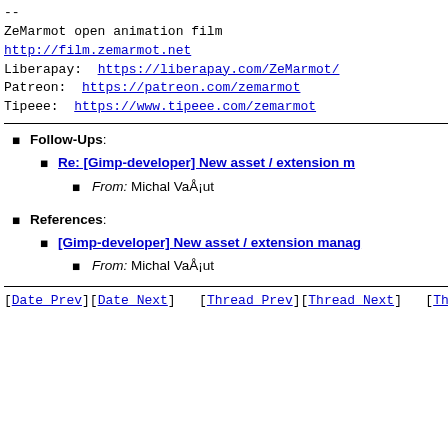--
ZeMarmot open animation film
http://film.zemarmot.net
Liberapay:  https://liberapay.com/ZeMarmot/
Patreon:  https://patreon.com/zemarmot
Tipeee:  https://www.tipeee.com/zemarmot
Follow-Ups:
Re: [Gimp-developer] New asset / extension m
From: Michal VaÅ¡ut
References:
[Gimp-developer] New asset / extension manag
From: Michal VaÅ¡ut
[Date Prev][Date Next]   [Thread Prev][Thread Next]   [Thread In